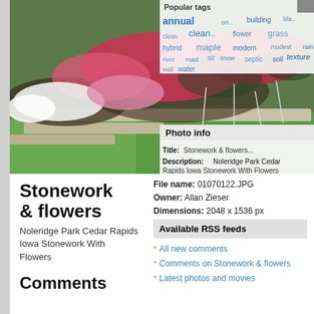[Figure (photo): Garden photo showing stonework edging with colorful flowers (pink, red, white) and green grass at Noleridge Park Cedar Rapids Iowa]
Popular tags: annual, building, clean, clean, flower, grass, hybrid, maple, modern, modest, moss, rain, river, road, sir, snow, septic, soil, texture, free, wall, water
Photo info
Title: Stonework & flowers
Description: Noleridge Park Cedar Rapids Iowa Stonework With Flowers
File name: 01070122.JPG
Owner: Allan Zieser
Dimensions: 2048 x 1536 px
Stonework & flowers
Noleridge Park Cedar Rapids Iowa Stonework With Flowers
Available RSS feeds
All new comments
Comments on Stonework & flowers
Latest photos and movies
Comments